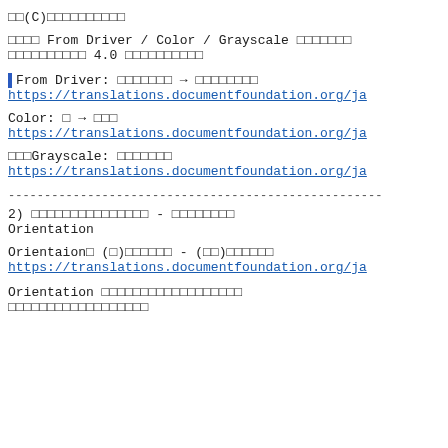□□(C)□□□□□□□□□□
□□□□ From Driver / Color / Grayscale □□□□□□□ □□□□□□□□□□ 4.0 □□□□□□□□□□
| From Driver: □□□□□□□ → □□□□□□□□ https://translations.documentfoundation.org/ja
Color: □ → □□□ https://translations.documentfoundation.org/ja
□□□Grayscale: □□□□□□□ https://translations.documentfoundation.org/ja
------------------------------------------------------------
2) □□□□□□□□□□□□□□□ - □□□□□□□□ Orientation
Orientaion□ (□)□□□□□□ - (□□)□□□□□□ https://translations.documentfoundation.org/ja
Orientation □□□□□□□□□□□□□□□□□□ □□□□□□□□□□□□□□□□□□